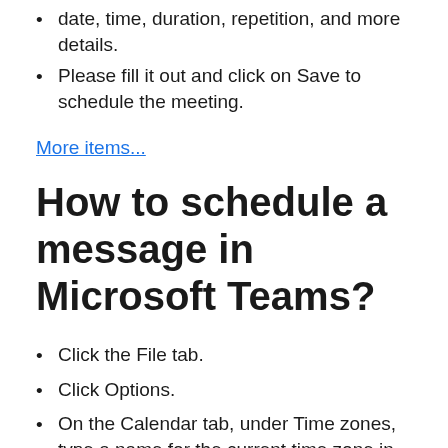date, time, duration, repetition, and more details.
Please fill it out and click on Save to schedule the meeting.
More items...
How to schedule a message in Microsoft Teams?
Click the File tab.
Click Options.
On the Calendar tab, under Time zones, type a name for the current time zone in the Label box.